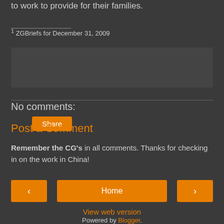to work to provide for their families.
1 ZGBriefs for December 31, 2009
[Figure (other): Share button widget box]
No comments:
Post a Comment
Remember the CG's in all comments. Thanks for checking in on the work in China!
‹   Home   ›
View web version
Powered by Blogger.